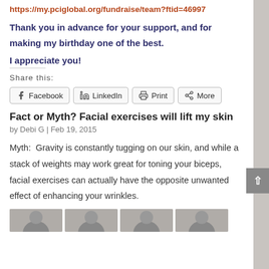https://my.pciglobal.org/fundraise/team?ftid=46997
Thank you in advance for your support, and for making my birthday one of the best.
I appreciate you!
Share this:
Facebook   LinkedIn   Print   More
Fact or Myth? Facial exercises will lift my skin
by Debi G | Feb 19, 2015
Myth:  Gravity is constantly tugging on our skin, and while a stack of weights may work great for toning your biceps, facial exercises can actually have the opposite unwanted effect of enhancing your wrinkles.
[Figure (photo): Row of four partially visible portrait photos at the bottom of the page]